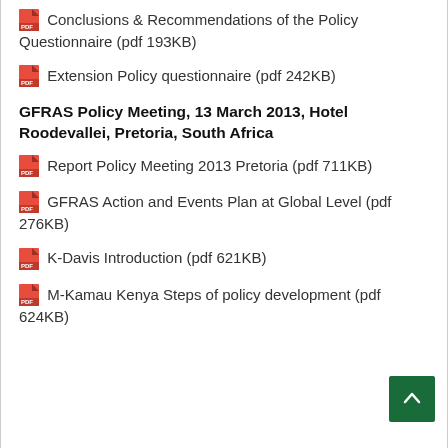Conclusions & Recommendations of the Policy Questionnaire (pdf 193KB)
Extension Policy questionnaire (pdf 242KB)
GFRAS Policy Meeting, 13 March 2013, Hotel Roodevallei, Pretoria, South Africa
Report Policy Meeting 2013 Pretoria (pdf 711KB)
GFRAS Action and Events Plan at Global Level (pdf 276KB)
K-Davis Introduction (pdf 621KB)
M-Kamau Kenya Steps of policy development (pdf 624KB)